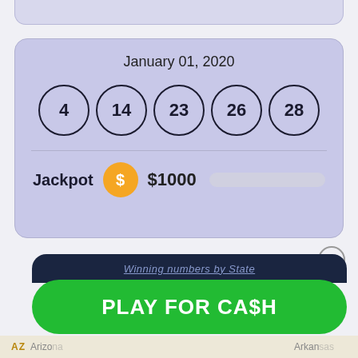January 01, 2020
4  14  23  26  28
Jackpot  $  $1000
Winning numbers by State
PLAY FOR CA$H
AZ Arizona
Arkansas